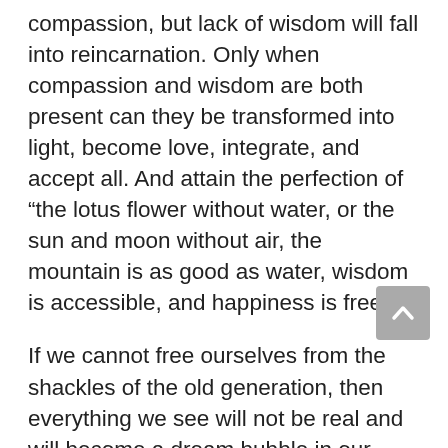compassion, but lack of wisdom will fall into reincarnation. Only when compassion and wisdom are both present can they be transformed into light, become love, integrate, and accept all. And attain the perfection of "the lotus flower without water, or the sun and moon without air, the mountain is as good as water, wisdom is accessible, and happiness is free".
If we cannot free ourselves from the shackles of the old generation, then everything we see will not be real and will become a dream bubble in our lives. When humanity enters the third dimension, the fourth dimension, the spiritual world, the world of truth, all